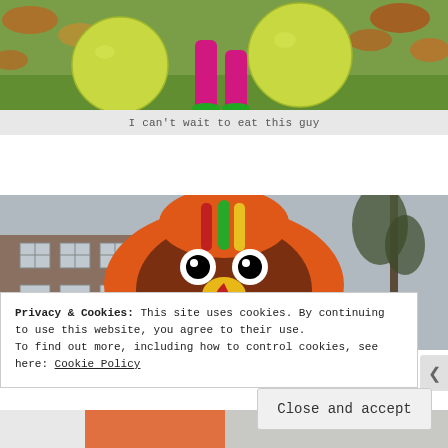[Figure (photo): Top portion of a photo showing a child in pink/magenta clothing among large yellow-green inflatable balls on a lawn with autumn leaves]
I can't wait to eat this guy
[Figure (photo): Large inflatable turkey decoration in a residential yard, with a brown body, googly eyes, orange feathers, and yellow beak, house visible in background]
Privacy & Cookies: This site uses cookies. By continuing to use this website, you agree to their use.
To find out more, including how to control cookies, see here: Cookie Policy